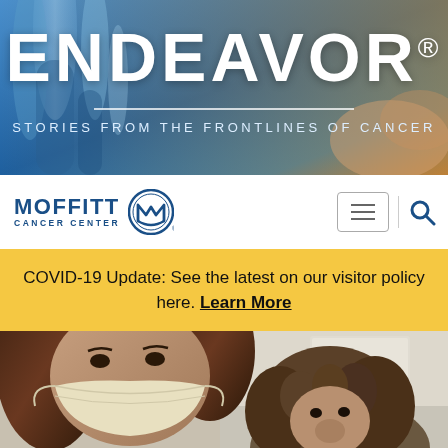[Figure (photo): Blue-toned laboratory background with glass beakers/tubes in foreground, warm orange tones at right edge. ENDEAVOR title and subtitle overlaid.]
ENDEAVOR®
STORIES FROM THE FRONTLINES OF CANCER
[Figure (logo): Moffitt Cancer Center logo: blue text MOFFITT CANCER CENTER with circular M emblem]
COVID-19 Update: See the latest on our visitor policy here. Learn More
[Figure (photo): Two people wearing face masks, selfie-style photo in a medical/clinical setting]